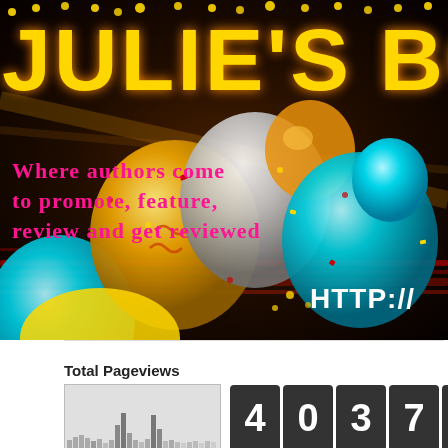[Figure (illustration): Banner for Julie's Book Review blog showing colorful balloons (cyan, gold, silver) against a dark background with streaks of red and yellow light. Text reads JULIE'S BO[OK REVIEW] with subtitle WHERE AUTHORS COME TO PROMOTE, FEATURE, REVIEW AND GET REVIEWED, and URL HTTP:// in lower right.]
Total Pageviews
[Figure (histogram): Small histogram/sparkline showing page view traffic over time with peaks visible]
403775